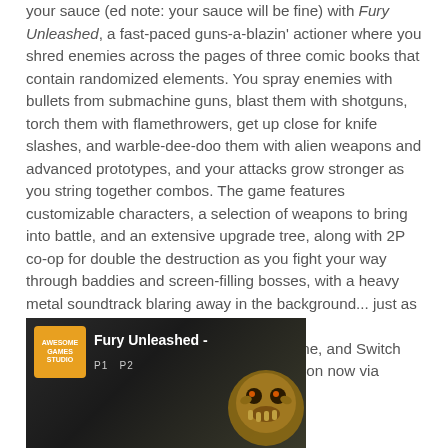your sauce (ed note: your sauce will be fine) with Fury Unleashed, a fast-paced guns-a-blazin' actioner where you shred enemies across the pages of three comic books that contain randomized elements. You spray enemies with bullets from submachine guns, blast them with shotguns, torch them with flamethrowers, get up close for knife slashes, and warble-dee-doo them with alien weapons and advanced prototypes, and your attacks grow stronger as you string together combos. The game features customizable characters, a selection of weapons to bring into battle, and an extensive upgrade tree, along with 2P co-op for double the destruction as you fight your way through baddies and screen-filling bosses, with a heavy metal soundtrack blaring away in the background... just as nature intended.
The game is coming to PC, PS4, Xbox One, and Switch later this year. You can play the PC version now via Steam Early Access.
[Figure (screenshot): Video thumbnail for Fury Unleashed showing the Awesome Games Studio logo, the title 'Fury Unleashed -' with P1 P2 labels, and a creature/character on the right side against a dark background.]